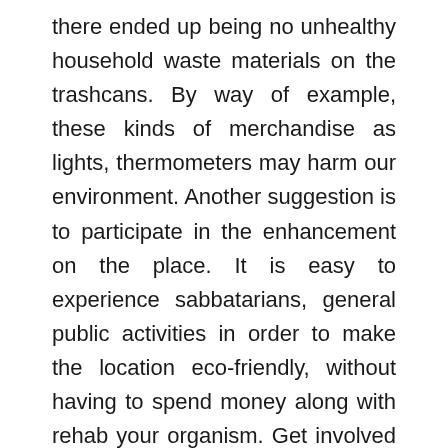there ended up being no unhealthy household waste materials on the trashcans. By way of example, these kinds of merchandise as lights, thermometers may harm our environment. Another suggestion is to participate in the enhancement on the place. It is easy to experience sabbatarians, general public activities in order to make the location eco-friendly, without having to spend money along with rehab your organism. Get involved together with your mothers and fathers or perhaps your dearest man so you simply will not only perform joy for those setting, also for your body and your loved ones, since the group do the job, everbody knows, provides in concert. The next guideline is usually to protect gas. Vehicle owners will also help saving environmental surroundings. They do not possess to decline choosing cars and trucks in favour of consumer transfer. As a